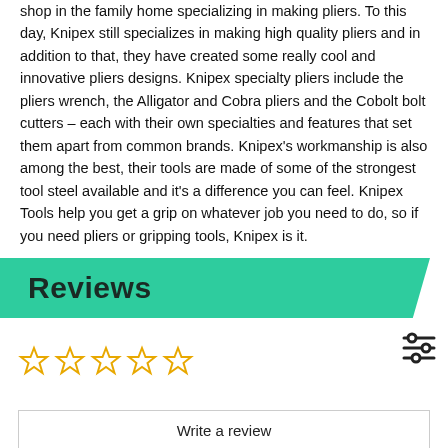shop in the family home specializing in making pliers. To this day, Knipex still specializes in making high quality pliers and in addition to that, they have created some really cool and innovative pliers designs. Knipex specialty pliers include the pliers wrench, the Alligator and Cobra pliers and the Cobolt bolt cutters – each with their own specialties and features that set them apart from common brands. Knipex's workmanship is also among the best, their tools are made of some of the strongest tool steel available and it's a difference you can feel. Knipex Tools help you get a grip on whatever job you need to do, so if you need pliers or gripping tools, Knipex is it.
Reviews
[Figure (other): Five empty star rating icons in a row]
[Figure (other): Green circle with gift/present icon and a filter/sliders icon to the right]
Write a review